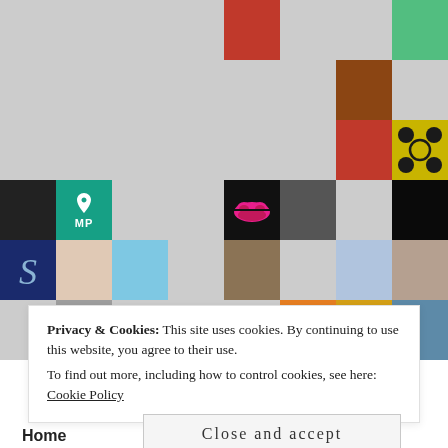[Figure (photo): Grid of profile photos and avatars in 8 columns, showing various people's faces and profile images, with some decorative/graphic avatars including a teal MP logo, pink lips, decorative patterns, and calligraphic S initial.]
Privacy & Cookies: This site uses cookies. By continuing to use this website, you agree to their use.
To find out more, including how to control cookies, see here: Cookie Policy
Close and accept
Home